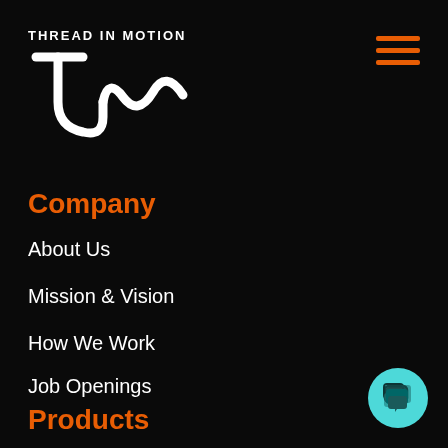[Figure (logo): Thread in Motion logo — white text 'THREAD IN MOTION' above a white stylized TIM letterform on black background]
[Figure (other): Hamburger menu icon with three orange horizontal lines]
Company
About Us
Mission & Vision
How We Work
Job Openings
Privacy Policy
Blog
ROI Calculator
Products